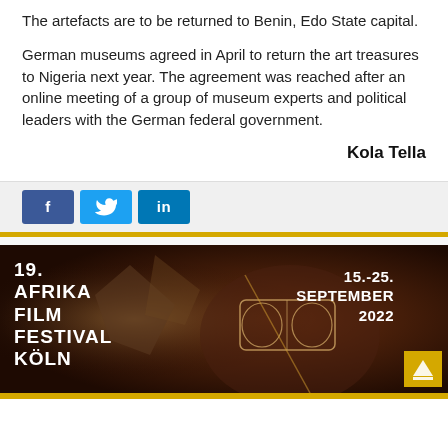The artefacts are to be returned to Benin, Edo State capital.
German museums agreed in April to return the art treasures to Nigeria next year. The agreement was reached after an online meeting of a group of museum experts and political leaders with the German federal government.
Kola Tella
[Figure (other): Social share buttons: Facebook (f), Twitter (bird icon), LinkedIn (in)]
[Figure (photo): Banner advertisement for 19. Afrika Film Festival Köln, 15.-25. September 2022. Dark background with a person wearing futuristic wire-frame goggles. Text on left: 19. AFRIKA FILM FESTIVAL KÖLN. Text on right: 15.-25. SEPTEMBER 2022. Gold arrow box in bottom-right corner.]